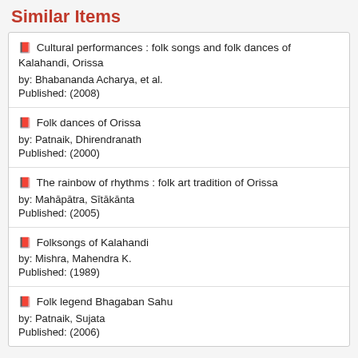Similar Items
Cultural performances : folk songs and folk dances of Kalahandi, Orissa
by: Bhabananda Acharya, et al.
Published: (2008)
Folk dances of Orissa
by: Patnaik, Dhirendranath
Published: (2000)
The rainbow of rhythms : folk art tradition of Orissa
by: Mahāpātra, Sītākānta
Published: (2005)
Folksongs of Kalahandi
by: Mishra, Mahendra K.
Published: (1989)
Folk legend Bhagaban Sahu
by: Patnaik, Sujata
Published: (2006)